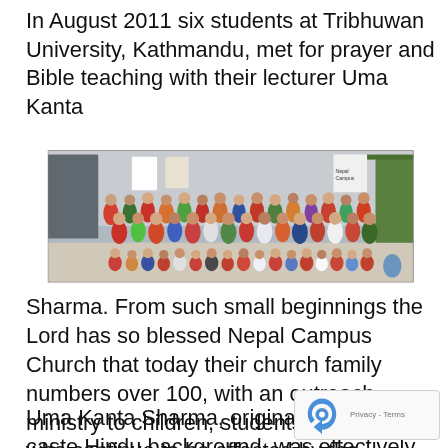In August 2011 six students at Tribhuwan University, Kathmandu, met for prayer and Bible teaching with their lecturer Uma Kanta
[Figure (photo): Group photo of a large congregation of people, including adults and children, gathered outdoors at Nepal Campus Church in Kathmandu.]
Sharma. From such small beginnings the Lord has so blessed Nepal Campus Church that today their church family numbers over 100, with an outreach ministry to children, students and those who continue to be affected by the massive 2015 earthquake.
Uma Kanta Sharma, originally from a high caste Hindu background, was effectively allowed to fall from the church.